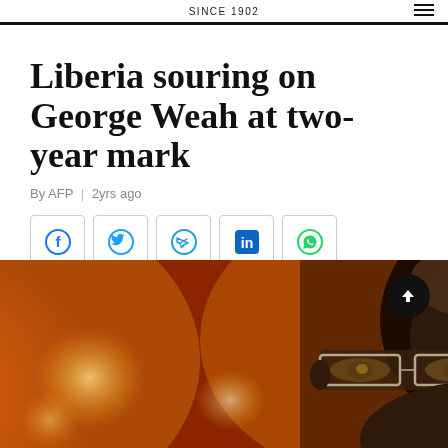SINCE 1902
Liberia souring on George Weah at two-year mark
By AFP | 2yrs ago
[Figure (infographic): Social media sharing icons: Facebook, Twitter, Telegram, LinkedIn, WhatsApp]
[Figure (photo): Close-up photo of a man wearing glasses with orange/candlelight bokeh background, cropped to show forehead, eyes, and top of face]